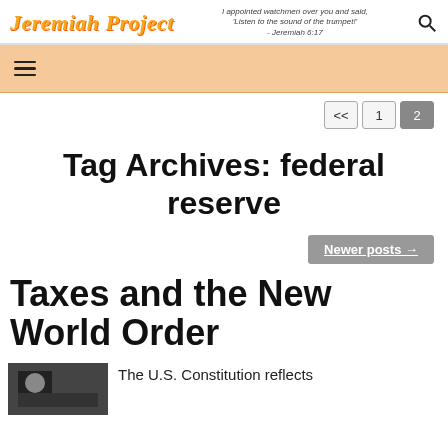Jeremiah Project | I appointed watchmen over you and said, 'Listen to the sound of the trumpet!' - Jeremiah 6:17
≡
<< 1 2
Tag Archives: federal reserve
Newer posts →
Taxes and the New World Order
The U.S. Constitution reflects